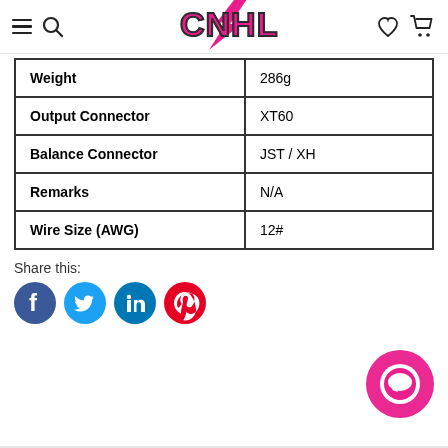CNHL website header with navigation icons and logo
| Weight | 286g |
| Output Connector | XT60 |
| Balance Connector | JST / XH |
| Remarks | N/A |
| Wire Size (AWG) | 12# |
Share this:
[Figure (infographic): Social share buttons: Facebook (blue circle), Twitter (light blue circle), LinkedIn (blue circle), Pinterest (red circle)]
[Figure (infographic): Pink/magenta chat bubble widget icon in bottom right corner]